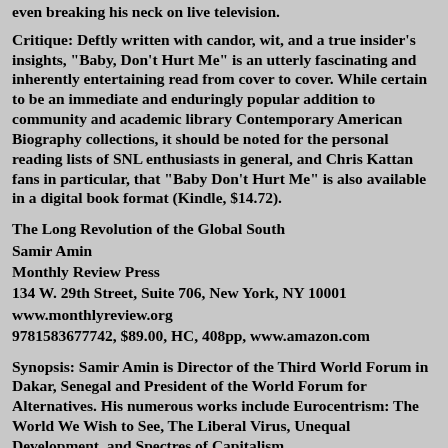even breaking his neck on live television.
Critique: Deftly written with candor, wit, and a true insider's insights, "Baby, Don't Hurt Me" is an utterly fascinating and inherently entertaining read from cover to cover. While certain to be an immediate and enduringly popular addition to community and academic library Contemporary American Biography collections, it should be noted for the personal reading lists of SNL enthusiasts in general, and Chris Kattan fans in particular, that "Baby Don't Hurt Me" is also available in a digital book format (Kindle, $14.72).
The Long Revolution of the Global South
Samir Amin
Monthly Review Press
134 W. 29th Street, Suite 706, New York, NY 10001
www.monthlyreview.org
9781583677742, $89.00, HC, 408pp, www.amazon.com
Synopsis: Samir Amin is Director of the Third World Forum in Dakar, Senegal and President of the World Forum for Alternatives. His numerous works include Eurocentrism: The World We Wish to See, The Liberal Virus, Unequal Development, and Spectres of Capitalism.
"The Long Revolution of the Global South: Towards a...